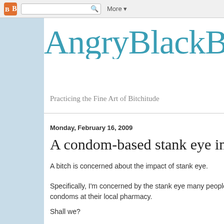[Figure (screenshot): Blogger navigation bar with orange B logo, search box with magnifying glass icon, and 'More' dropdown button]
AngryBlackBit...
Practicing the Fine Art of Bitchitude
Monday, February 16, 2009
A condom-based stank eye incident a...
A bitch is concerned about the impact of stank eye.
Specifically, I'm concerned by the stank eye many people are s... condoms at their local pharmacy.
Shall we?